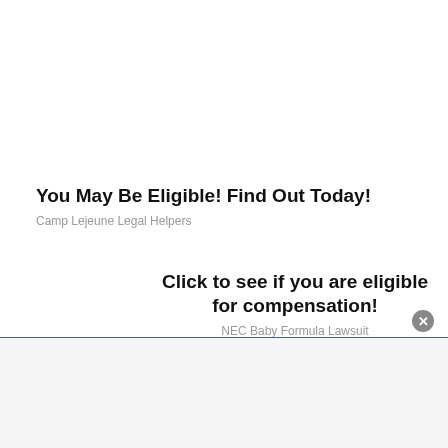You May Be Eligible! Find Out Today!
Camp Lejeune Legal Helpers
Click to see if you are eligible for compensation!
NEC Baby Formula Lawsuit